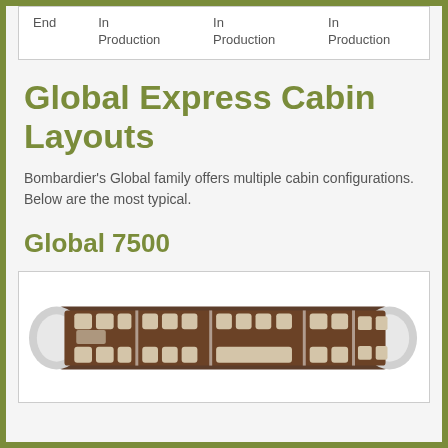| End | In
Production | In
Production | In
Production |
Global Express Cabin Layouts
Bombardier's Global family offers multiple cabin configurations. Below are the most typical.
Global 7500
[Figure (illustration): Top-down cross-section diagram of the Global 7500 aircraft cabin layout showing multiple seating zones with cream/tan colored seats arranged in groups along a dark brown cabin interior, with silver/white nose and tail sections visible.]